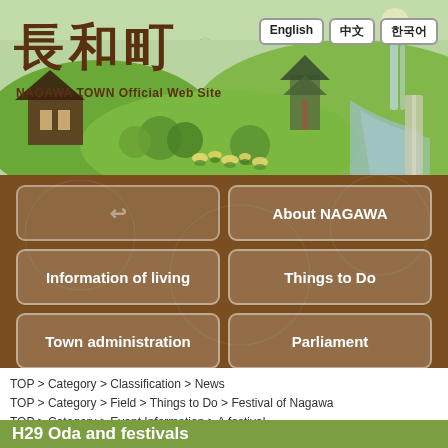[Figure (illustration): Nagawa Town Official Web Site banner with illustrated Japanese countryside scene: green hills, traditional buildings, waterfall, river, flowers. Japanese title 長和町 in brown, language buttons for English, 中文, 한국어, subtitle NAGAWA TOWN Official Web Site]
長和町 NAGAWA TOWN Official Web Site
English | 中文 | 한국어
↩
About NAGAWA
Information of living
Things to Do
Town administration
Parliament
TOP > Category > Classification > News
TOP > Category > Field > Things to Do > Festival of Nagawa
TOP > Category > Event Information > A festival
H29 Oda and festivals